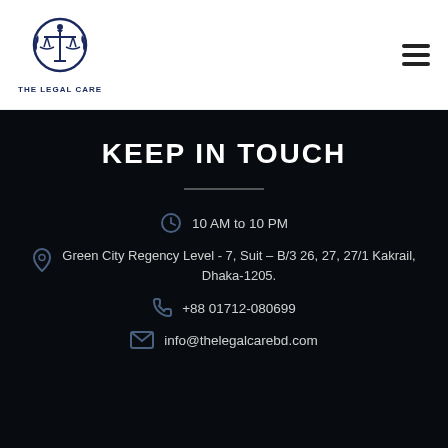[Figure (logo): The Legal Care logo with scales of justice icon and text THE LEGAL CARE]
KEEP IN TOUCH
10 AM to 10 PM
Green City Regency Level - 7, Suit – B/3 26, 27, 27/1 Kakrail, Dhaka-1205.
+88 01712-080699
info@thelegalcarebd.com